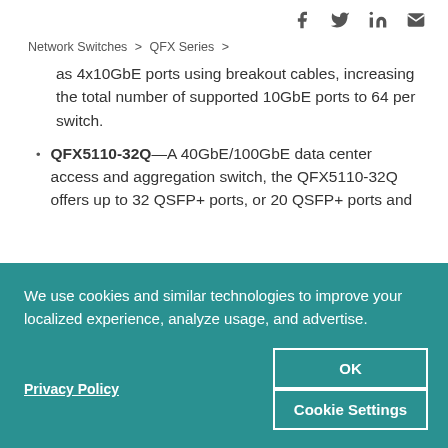f  Twitter  in  mail (social icons)
Network Switches > QFX Series >
as 4x10GbE ports using breakout cables, increasing the total number of supported 10GbE ports to 64 per switch.
QFX5110-32Q—A 40GbE/100GbE data center access and aggregation switch, the QFX5110-32Q offers up to 32 QSFP+ ports, or 20 QSFP+ ports and
We use cookies and similar technologies to improve your localized experience, analyze usage, and advertise.
Privacy Policy
OK
Cookie Settings